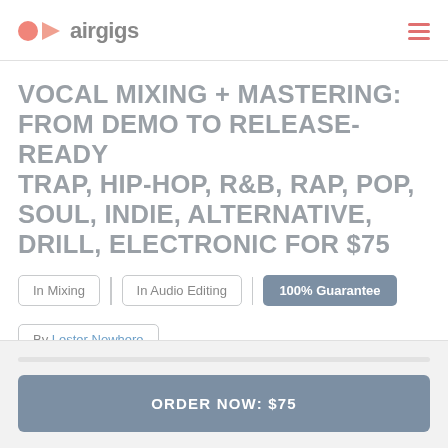airgigs
VOCAL MIXING + MASTERING: FROM DEMO TO RELEASE-READY TRAP, HIP-HOP, R&B, RAP, POP, SOUL, INDIE, ALTERNATIVE, DRILL, ELECTRONIC FOR $75
In Mixing
In Audio Editing
100% Guarantee
By Lester Nowhere
ORDER NOW: $75